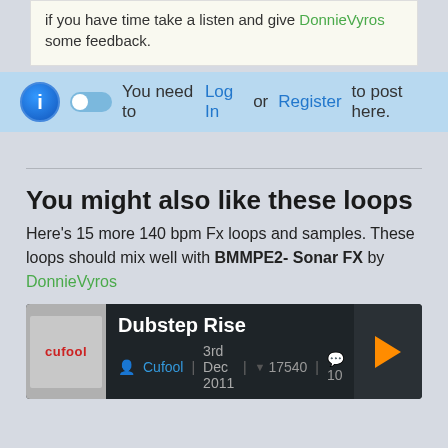if you have time take a listen and give DonnieVyros some feedback.
You need to Log In or Register to post here.
You might also like these loops
Here's 15 more 140 bpm Fx loops and samples. These loops should mix well with BMMPE2- Sonar FX by DonnieVyros
Dubstep Rise — Cufool | 3rd Dec 2011 | 17540 downloads | 10 comments